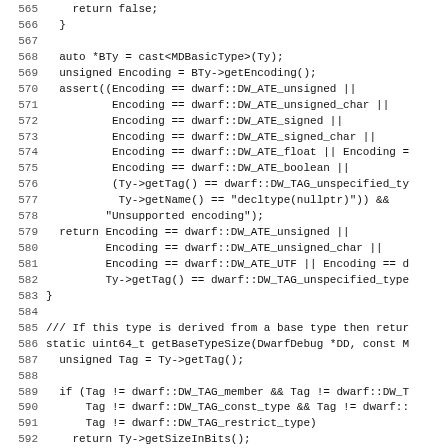Source code listing, lines 565-597, C++ DWARF debug type utilities